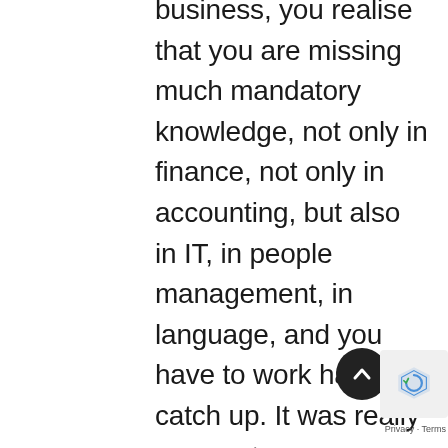business, you realise that you are missing much mandatory knowledge, not only in finance, not only in accounting, but also in IT, in people management, in language, and you have to work hard to catch up. It was really n very strong, a very impacting experience for me when I realised that I have to work hard because at the beginning, I thought that once I finished my university it was okay, but honestly it was not enough at all. Here I would like to invite business schools to, at least in Tunisia, to revise their teaching programmes and to make them up to date because labour market has needs that are not satisfied today. In my opinion, honestly, it's not acceptable to